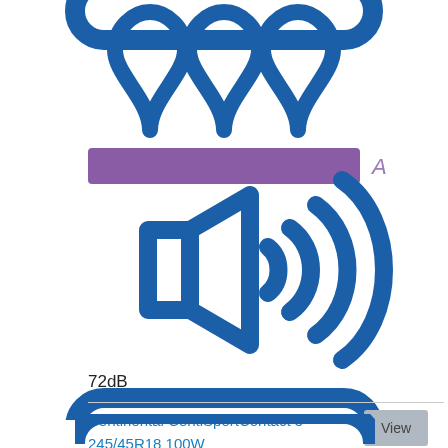[Figure (infographic): Blue water droplets icon (three droplets) above a purple/violet horizontal bar with letter A, indicating wet grip rating A. Below is a blue speaker/sound icon with sound waves indicating 72dB noise rating.]
72dB
Continental ContiSportContact 5 245/45R18 100W
[Figure (infographic): Partial blue rounded rectangle button at bottom of page]